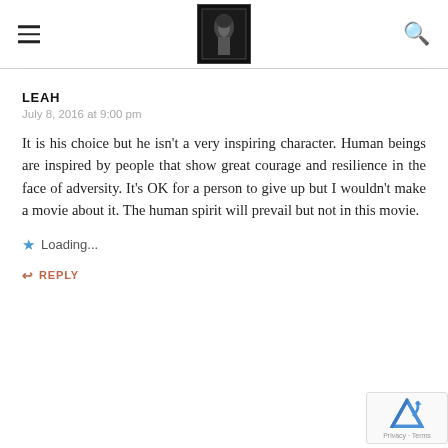[hamburger menu icon] [X-ray logo image] [search icon]
LEAH
July 8, 2016 at 9:00 pm

It is his choice but he isn't a very inspiring character. Human beings are inspired by people that show great courage and resilience in the face of adversity. It's OK for a person to give up but I wouldn't make a movie about it. The human spirit will prevail but not in this movie.

★ Loading...

↩ REPLY